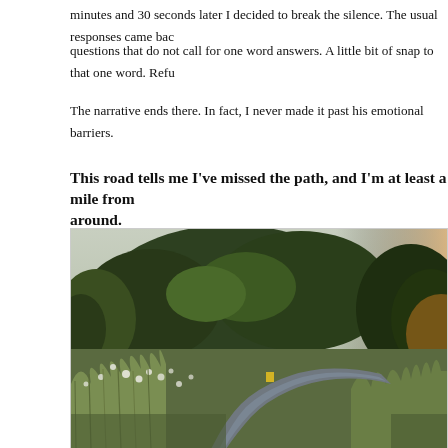minutes and 30 seconds later I decided to break the silence. The usual responses came back questions that do not call for one word answers. A little bit of snap to that one word. Refu...
The narrative ends there. In fact, I never made it past his emotional barriers.
This road tells me I've missed the path, and I'm at least a mile from around.
[Figure (photo): A winding path through wild meadow grasses and wildflowers with dense green trees in the background, photographed at dusk or early evening with warm light visible through the trees on the right side.]